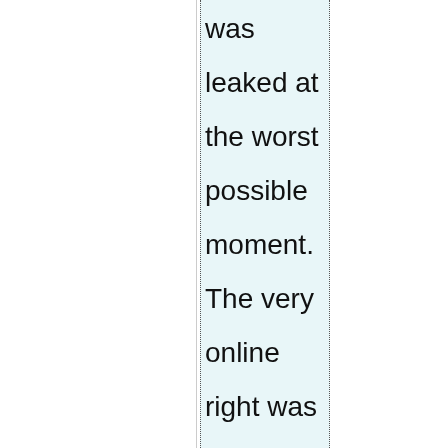was leaked at the worst possible moment. The very online right was already in a full-blown moral panic about pedophilia, basically